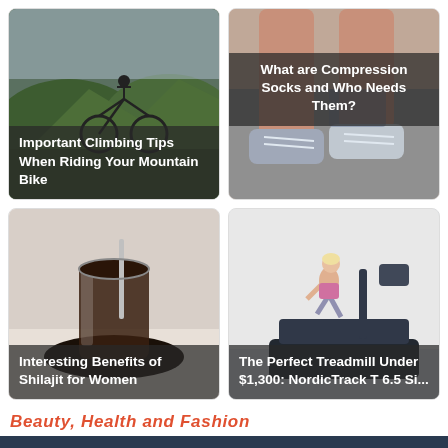[Figure (photo): Mountain biking scene with green hills; card title overlay: Important Climbing Tips When Riding Your Mountain Bike]
[Figure (photo): Close-up of person tying compression socks/shoes; card title overlay: What are Compression Socks and Who Needs Them?]
[Figure (photo): Dark beverage in glass with straw on dark saucer; card title overlay: Interesting Benefits of Shilajit for Women]
[Figure (photo): Woman running on treadmill in bright room; card title overlay: The Perfect Treadmill Under $1,300: NordicTrack T 6.5 Si...]
Beauty, Health and Fashion
Allpoint Construction is a reliable, experienced